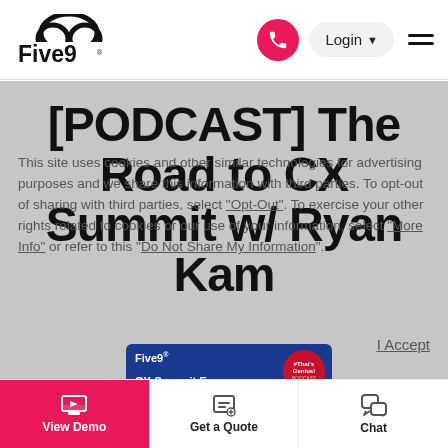Five9 — Login — Navigation
[PODCAST] The Road to CX Summit w/ Ryan Kam
This site uses cookies and other similar technologies for advertising purposes and we share this information with third parties. To opt-out of sharing with third parties, select "Opt-Out". To exercise your other rights related to cookies or our use of your information, select "More Info" or refer to this "Do Not Share My Information".
I Accept
[Figure (screenshot): Five9 podcast card with CX Summit Focus with Ryan Kam label and That's Genius badge on dark blue background]
View Demo | Get a Quote | Chat